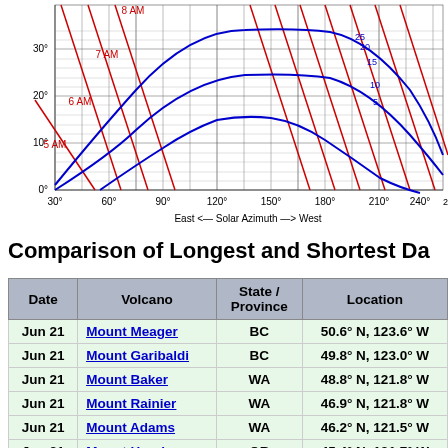[Figure (continuous-plot): Solar path diagram showing Solar Altitude (y-axis, 10° to 30°+) vs Solar Azimuth (x-axis, 30° to 270°+, East to West). Blue curves show sun paths for different dates, red diagonal lines show hour lines labeled 5 AM, 6 AM, 7 AM, 8 AM. Numbers near curves indicate declination/dates.]
Comparison of Longest and Shortest Da
| Date | Volcano | State / Province | Location |
| --- | --- | --- | --- |
| Jun 21 | Mount Meager | BC | 50.6° N, 123.6° W |
| Jun 21 | Mount Garibaldi | BC | 49.8° N, 123.0° W |
| Jun 21 | Mount Baker | WA | 48.8° N, 121.8° W |
| Jun 21 | Mount Rainier | WA | 46.9° N, 121.8° W |
| Jun 21 | Mount Adams | WA | 46.2° N, 121.5° W |
| Jun 21 | Mount Hood | OR | 45.4° N, 121.7° W |